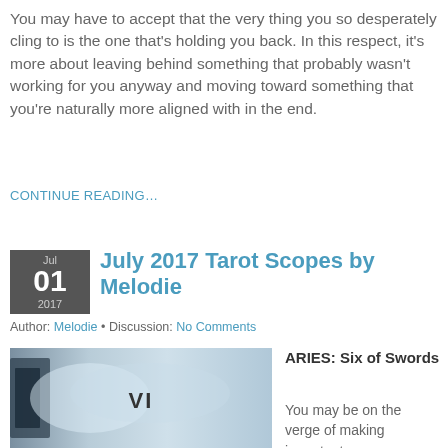You may have to accept that the very thing you so desperately cling to is the one that’s holding you back. In this respect, it’s more about leaving behind something that probably wasn’t working for you anyway and moving toward something that you’re naturally more aligned with in the end.
CONTINUE READING…
July 2017 Tarot Scopes by Melodie
Author: Melodie • Discussion: No Comments
[Figure (photo): Tarot card image showing the Six of Swords (Roman numeral VI) with a light blue/grey background]
ARIES: Six of Swords
You may be on the verge of making important